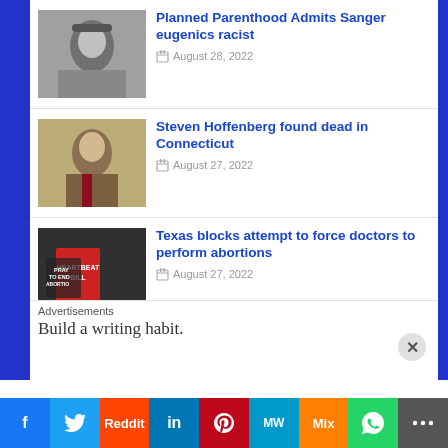Planned Parenthood Admits Sanger eugenics racist — August 28, 2022
Steven Hoffenberg found dead in Connecticut — August 27, 2022
Texas blocks attempt to force doctors to perform abortions — August 27, 2022
Leaked slides detail YouTube...
Advertisements
Build a writing habit.
f  Twitter  Reddit  in  Pinterest  MW  Mix  WhatsApp  Share